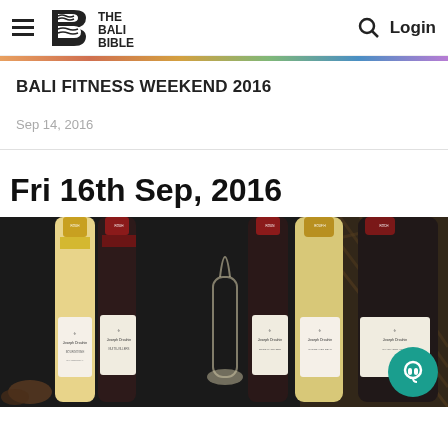THE BALI BIBLE — Navigation bar with hamburger menu, logo, search icon, and Login
BALI FITNESS WEEKEND 2016
Sep 14, 2016
Fri 16th Sep, 2016
[Figure (photo): Photo of multiple bottles of Joseph Drouhin wine including Chardonnay, Nuits-Villers, Nuits-Saint-Georges, Chorey-les-Beaune, and Chassagne-Montrachet, arranged on a dark background with a wicker basket]